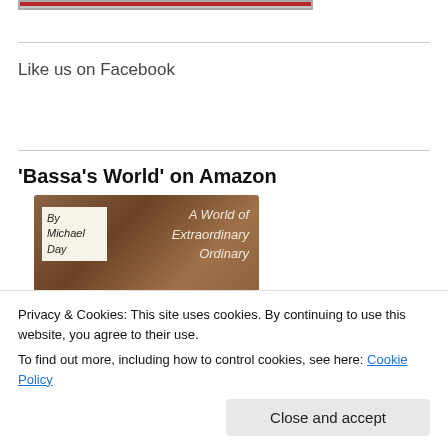[Figure (photo): Top strip of a book cover image with red/gray border]
Like us on Facebook
'Bassa's World' on Amazon
[Figure (photo): Book cover of 'Bassa's World' by Michael Day - A World of Extraordinary Ordinary, brown textured cover with italic text]
Privacy & Cookies: This site uses cookies. By continuing to use this website, you agree to their use.
To find out more, including how to control cookies, see here: Cookie Policy
Close and accept